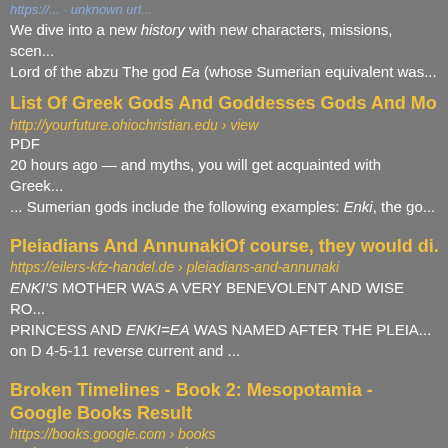https://... - unknown url
We dive into a new history with new characters, missions, scen... Lord of the abzu The god Ea (whose Sumerian equivalent was...
List Of Greek Gods And Goddesses Gods And Mo...
http://yourfuture.ohiochristian.edu › view
PDF
20 hours ago — and myths, you will get acquainted with Greek... ... Sumerian gods include the following examples: Enki, the go...
Pleiadians And AnnunakiOf course, they would di...
https://eilers-kfz-handel.de › pleiadians-and-annunaki
ENKI'S MOTHER WAS A VERY BENEVOLENT AND WISE RO... PRINCESS AND ENKI=EA WAS NAMED AFTER THE PLEIAD... on D 4-5-11 reverse current and ...
Broken Timelines - Book 2: Mesopotamia - Google Books Result
https://books.google.com › books
Jack Stornoway · 2019 · History
Using this longer timeline for the Sumerian civilization also allows the ... from the Akkadian era showing Ea, the